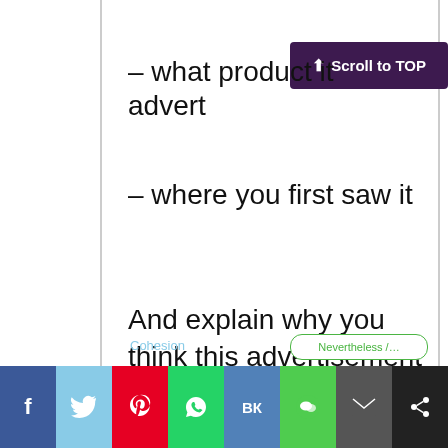– what product it advert…
– where you first saw it
And explain why you think this advertisement is effective.
In your answer try to use these structures:
Grammar   Passive voice
Nevertheless / Nonetheless (partial)